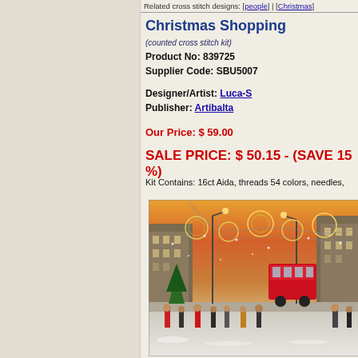Related cross stitch designs: [people] | [Christmas]
Christmas Shopping
(counted cross stitch kit)
Product No: 839725
Supplier Code: SBU5007
Designer/Artist: Luca-S
Publisher: Artibalta
Our Price: $ 59.00
SALE PRICE: $ 50.15 - (SAVE 15 %)
Kit Contains: 16ct Aida, threads 54 colors, needles,
[Figure (photo): Cross stitch product photo showing a busy Christmas shopping street scene in London with red double-decker buses, festive lights, decorations and people walking in snow]